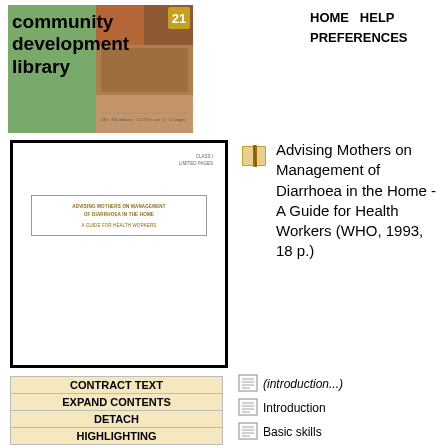[Figure (logo): Community Development Library logo with green background and colorful book cover image]
HOME   HELP   PREFERENCES
[Figure (screenshot): Document cover page preview showing title 'Advising Mothers on Management of Diarrhoea in the Home - A Guide for Health Workers' in a bordered box]
Advising Mothers on Management of Diarrhoea in the Home - A Guide for Health Workers (WHO, 1993, 18 p.)
CONTRACT TEXT
EXPAND CONTENTS
DETACH
HIGHLIGHTING
(introduction...)
Introduction
Basic skills